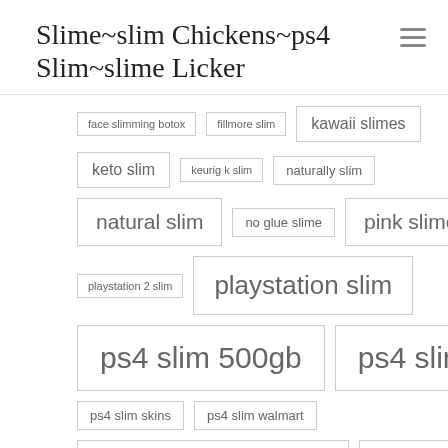Slime~slim Chickens~ps4 Slim~slime Licker
face slimming botox
fillmore slim
kawaii slimes
keto slim
keurig k slim
naturally slim
natural slim
no glue slime
pink slime
playstation 2 slim
playstation slim
ps4 slim 500gb
ps4 slim price
ps4 slim skins
ps4 slim walmart
queen slime terraria
slime drip
slime glue
slime meaning
slime museum
slime rancher porn
slimes